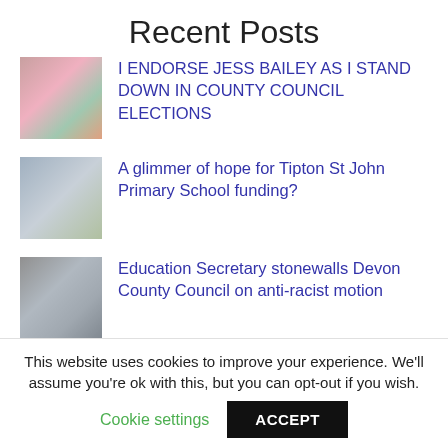Recent Posts
I ENDORSE JESS BAILEY AS I STAND DOWN IN COUNTY COUNCIL ELECTIONS
A glimmer of hope for Tipton St John Primary School funding?
Education Secretary stonewalls Devon County Council on anti-racist motion
Motion: Lobbying the government
This website uses cookies to improve your experience. We'll assume you're ok with this, but you can opt-out if you wish.
Cookie settings  ACCEPT